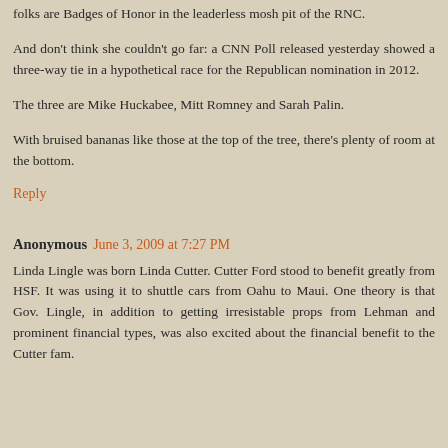folks are Badges of Honor in the leaderless mosh pit of the RNC.
And don't think she couldn't go far: a CNN Poll released yesterday showed a three-way tie in a hypothetical race for the Republican nomination in 2012.
The three are Mike Huckabee, Mitt Romney and Sarah Palin.
With bruised bananas like those at the top of the tree, there's plenty of room at the bottom.
Reply
Anonymous June 3, 2009 at 7:27 PM
Linda Lingle was born Linda Cutter. Cutter Ford stood to benefit greatly from HSF. It was using it to shuttle cars from Oahu to Maui. One theory is that Gov. Lingle, in addition to getting irresistable props from Lehman and prominent financial types, was also excited about the financial benefit to the Cutter fam.